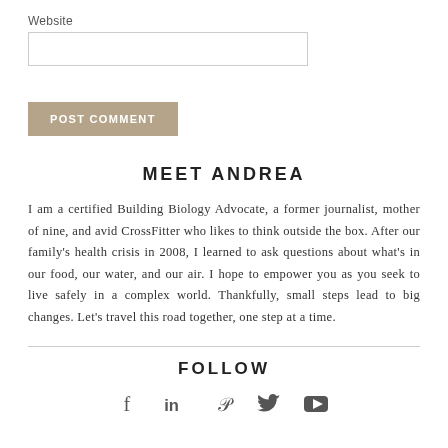Website
POST COMMENT
MEET ANDREA
I am a certified Building Biology Advocate, a former journalist, mother of nine, and avid CrossFitter who likes to think outside the box. After our family's health crisis in 2008, I learned to ask questions about what's in our food, our water, and our air. I hope to empower you as you seek to live safely in a complex world. Thankfully, small steps lead to big changes. Let's travel this road together, one step at a time.
FOLLOW
[Figure (infographic): Social media icons: Facebook (f), LinkedIn (in), Pinterest (P), Twitter bird, YouTube play button]